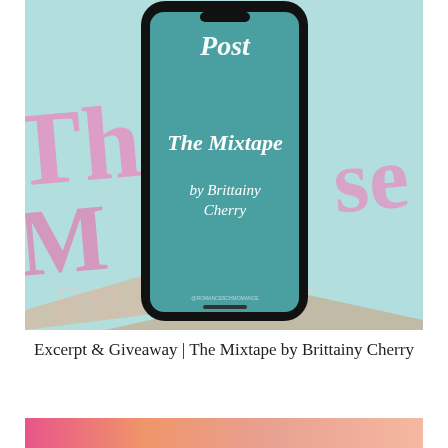[Figure (illustration): Book cover promotional image showing a smartphone displaying 'The Mixtape by Brittainy Cherry' on a teal screen, with a blurred pink and teal background featuring stylized text.]
Excerpt & Giveaway | The Mixtape by Brittainy Cherry
[Figure (photo): Partial view of another colorful image at the bottom of the page, showing pink, orange, and peach tones.]